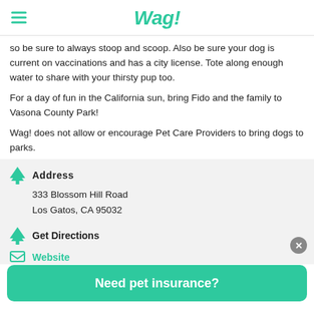Wag!
so be sure to always stoop and scoop. Also be sure your dog is current on vaccinations and has a city license. Tote along enough water to share with your thirsty pup too.
For a day of fun in the California sun, bring Fido and the family to Vasona County Park!
Wag! does not allow or encourage Pet Care Providers to bring dogs to parks.
Address
333 Blossom Hill Road
Los Gatos, CA 95032
Get Directions
Website
Need pet insurance?